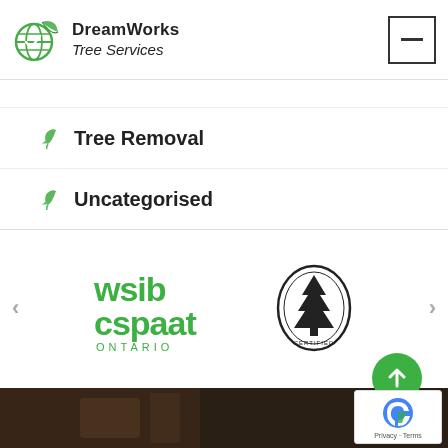DreamWorks Tree Services
Tree Removal
Uncategorised
[Figure (logo): WSIB CSPAAT Ontario logo in green text]
[Figure (logo): Circular tree emblem / certification badge in black and white]
[Figure (photo): Dark background photo at bottom of page showing hands working]